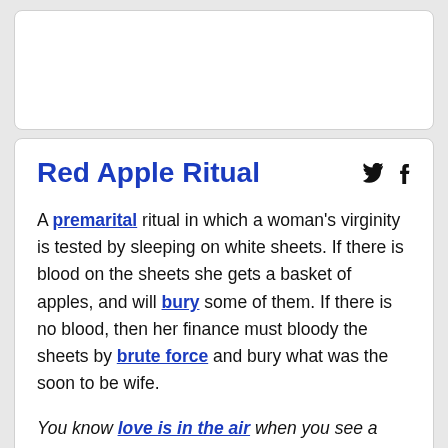Red Apple Ritual
A premarital ritual in which a woman's virginity is tested by sleeping on white sheets. If there is blood on the sheets she gets a basket of apples, and will bury some of them. If there is no blood, then her finance must bloody the sheets by brute force and bury what was the soon to be wife.
You know love is in the air when you see a couple walking to the clover to rest with a couple it...